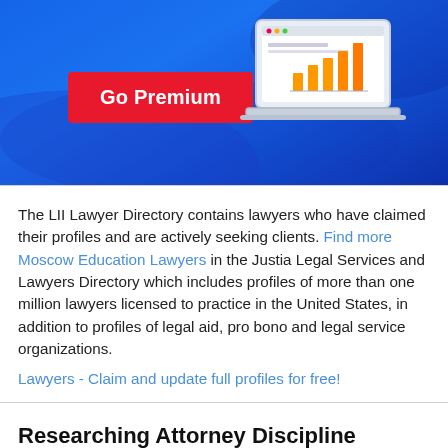[Figure (infographic): Blue gradient banner with a red 'Go Premium' button on the left and a laptop with an orange bar chart on the right]
The LII Lawyer Directory contains lawyers who have claimed their profiles and are actively seeking clients. Find more Moscow Education Lawyers in the Justia Legal Services and Lawyers Directory which includes profiles of more than one million lawyers licensed to practice in the United States, in addition to profiles of legal aid, pro bono and legal service organizations.
Lawyers - Claim and update full profiles for free!
Researching Attorney Discipline
Find out about the attorney...